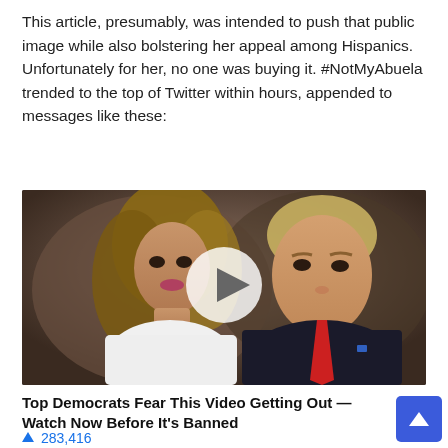This article, presumably, was intended to push that public image while also bolstering her appeal among Hispanics. Unfortunately for her, no one was buying it. #NotMyAbuela trended to the top of Twitter within hours, appended to messages like these:
[Figure (photo): Photo of two people (a woman with long blonde hair in a white top and a man with blond/grey hair in a dark suit with red tie) with a video play button overlay in the center, suggesting an embedded video thumbnail.]
Top Democrats Fear This Video Getting Out — Watch Now Before It's Banned
283,416